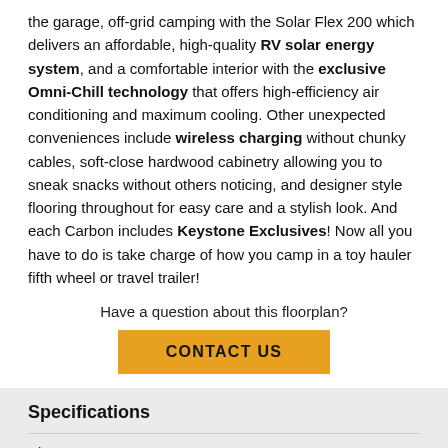the garage, off-grid camping with the Solar Flex 200 which delivers an affordable, high-quality RV solar energy system, and a comfortable interior with the exclusive Omni-Chill technology that offers high-efficiency air conditioning and maximum cooling. Other unexpected conveniences include wireless charging without chunky cables, soft-close hardwood cabinetry allowing you to sneak snacks without others noticing, and designer style flooring throughout for easy care and a stylish look. And each Carbon includes Keystone Exclusives! Now all you have to do is take charge of how you camp in a toy hauler fifth wheel or travel trailer!
Have a question about this floorplan?
CONTACT US
Specifications
|  |  |
| --- | --- |
| Sleeps | 11 |
| Slides | 3 |
| Length | 43 ft 11 in |